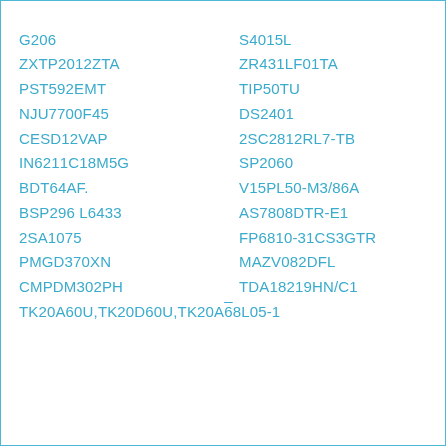G206
S4015L
ZXTP2012ZTA
ZR431LF01TA
PST592EMT
TIP50TU
NJU7700F45
DS2401
CESD12VAP
2SC2812RL7-TB
IN6211C18M5G
SP2060
BDT64AF.
V15PL50-M3/86A
BSP296 L6433
AS7808DTR-E1
2SA1075
FP6810-31CS3GTR
PMGD370XN
MAZV082DFL
CMPDM302PH
TDA18219HN/C1
TK20A60U,TK20D60U,TK20A68L05-1